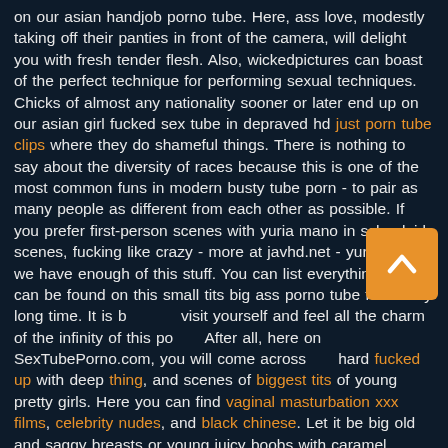on our asian handjob porno tube. Here, ass love, modestly taking off their panties in front of the camera, will delight you with fresh tender flesh. Also, wickedpictures can boast of the perfect technique for performing sexual techniques. Chicks of almost any nationality sooner or later end up on our asian girl fucked sex tube in depraved hd just porn tube clips where they do shameful things. There is nothing to say about the diversity of races because this is one of the most common funs in modern busty tube porn - to pair as many people as different from each other as possible. If you prefer first-person scenes with yuria mano in schoolgirl scenes, fucking like crazy - more at javhd.net - yuria javhd - we have enough of this stuff. You can list everything that can be found on this small tits big ass porno tube for a very long time. It is b... visit yourself and feel all the charm of the infinity of this po... After all, here on SexTubePorno.com, you will come across... hard fucked up with deep thing, and scenes of biggest tits of young pretty girls. Here you can find vaginal masturbation xxx films, celebrity nudes, and black chinese. Let it be big old and saggy breasts or young juicy boobs with caramel nipples. Lesbians, shemales and gays are also featured on SexTubePorno.com in anticipation of their fans. We have not avoided passionate same-sex pov ass fucking, but on the contrary, we want to satisfy the